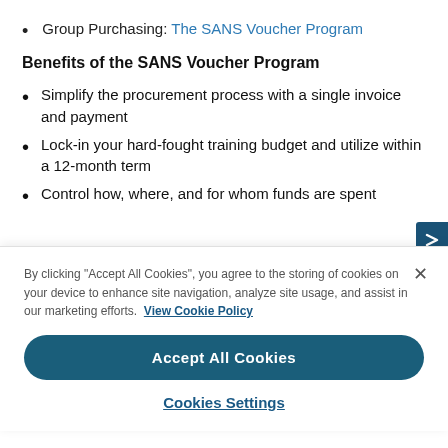Group Purchasing: The SANS Voucher Program
Benefits of the SANS Voucher Program
Simplify the procurement process with a single invoice and payment
Lock-in your hard-fought training budget and utilize within a 12-month term
Control how, where, and for whom funds are spent
By clicking "Accept All Cookies", you agree to the storing of cookies on your device to enhance site navigation, analyze site usage, and assist in our marketing efforts. View Cookie Policy
Accept All Cookies
Cookies Settings